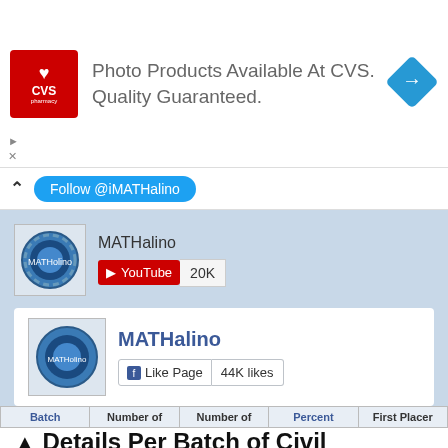[Figure (screenshot): CVS Pharmacy advertisement banner with logo, text 'Photo Products Available At CVS. Quality Guaranteed.' and a blue navigation arrow icon]
[Figure (screenshot): Social media bar with Follow @iMATHalino button in blue, chevron up icon]
[Figure (screenshot): MATHalino YouTube widget showing channel logo, name MATHalino, YouTube subscribe button with 20K subscribers]
[Figure (screenshot): MATHalino Facebook Like Page widget with logo, name MATHalino in blue, Like Page button and 44K likes count]
Details Per Batch of Civil Engineering Board Exam
| Batch | Number of | Number of | Percent | First Placer |
| --- | --- | --- | --- | --- |